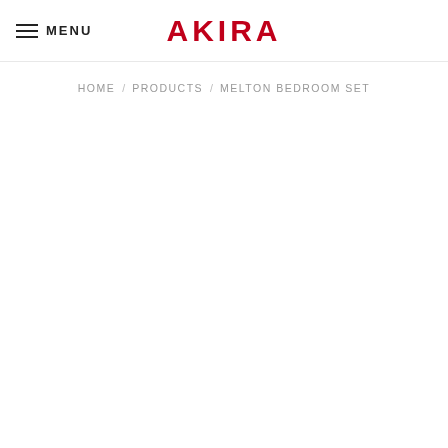MENU | AKIRA
HOME / PRODUCTS / MELTON BEDROOM SET